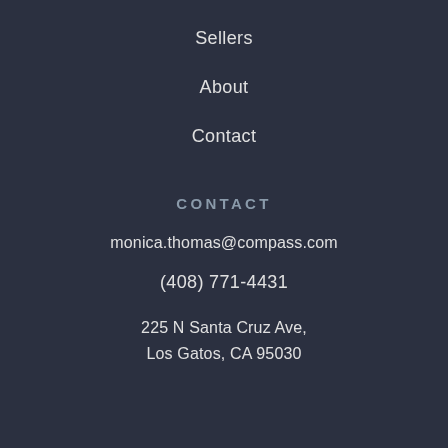Sellers
About
Contact
CONTACT
monica.thomas@compass.com
(408) 771-4431
225 N Santa Cruz Ave, Los Gatos, CA 95030